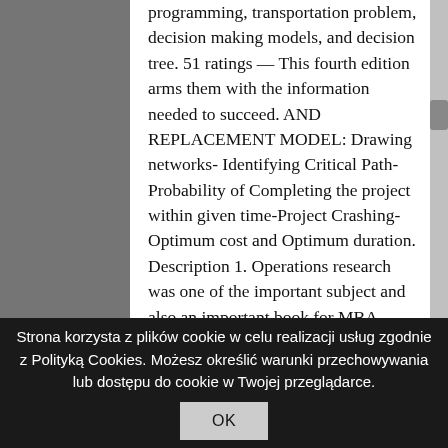programming, transportation problem, decision making models, and decision tree. 51 ratings — This fourth edition arms them with the information needed to succeed. AND REPLACEMENT MODEL: Drawing networks- Identifying Critical Path- Probability of Completing the project within given time-Project Crashing- Optimum cost and Optimum duration. Description 1. Operations research was one of the important subject and also an important book for MBA Students. read more. Operations Research: An Introduction, 9/e is ideal for or junior/senior undergraduate and first-year graduate courses in Operations Research in departments of Industrial Engineering, Business Administration, Statistics, Computer Science, and Mathematics.. 70 ratings — About the author. Actually the
Strona korzysta z plików cookie w celu realizacji usług zgodnie z Polityką Cookies. Możesz określić warunki przechowywania lub dostępu do cookie w Twojej przeglądarce.